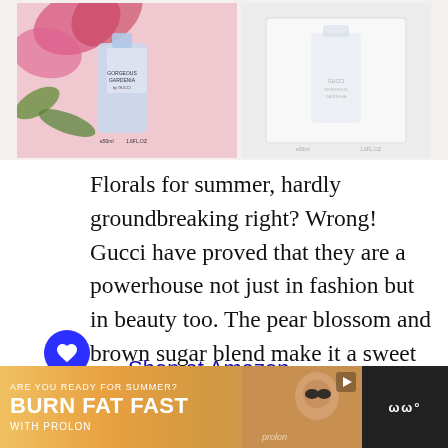[Figure (photo): Product images of Gucci Gorgeous Gardenia fragrance bottles against light backgrounds]
Florals for summer, hardly groundbreaking right? Wrong! Gucci have proved that they are a powerhouse not just in fashion but in beauty too. The pear blossom and brown sugar blend make it a sweet delight!
Shop at Amazon
[Figure (photo): Advertisement banner: ARE YOU READY FOR SUMMER? BURN FAT FAST WITH PROLON]